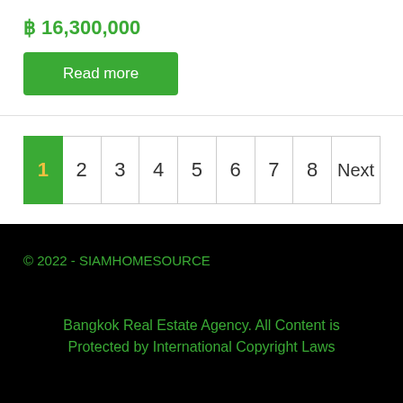฿ 16,300,000
Read more
1 2 3 4 5 6 7 8 Next
© 2022 - SIAMHOMESOURCE
Bangkok Real Estate Agency. All Content is Protected by International Copyright Laws